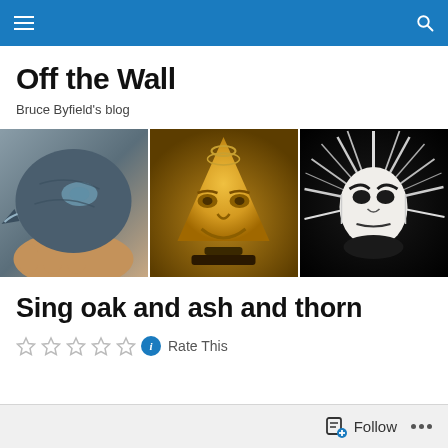Off the Wall — Bruce Byfield's blog (navigation bar)
Off the Wall
Bruce Byfield's blog
[Figure (photo): Three indigenous art pieces side by side: left - a dark blue carved raven/bird head sculpture held in hands; center - a golden/yellow carved face mask in triangular/cone shape lit warmly; right - a white carved face mask with spiky white hair radiating outward on dark background]
Sing oak and ash and thorn
Rate This
Follow